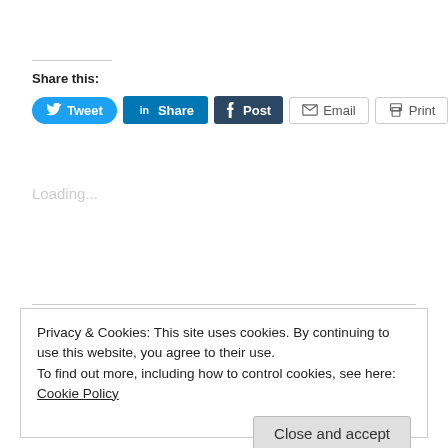Share this:
[Figure (screenshot): Social share buttons: Tweet (Twitter/blue), Share (LinkedIn/blue), Post (Tumblr/dark), Email (grey outline), Print (grey outline)]
Loading...
Privacy & Cookies: This site uses cookies. By continuing to use this website, you agree to their use.
To find out more, including how to control cookies, see here: Cookie Policy
Close and accept